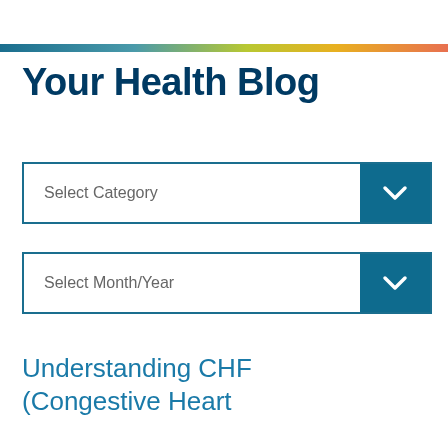Your Health Blog
Your Health Blog
Select Category
Select Month/Year
Understanding CHF (Congestive Heart